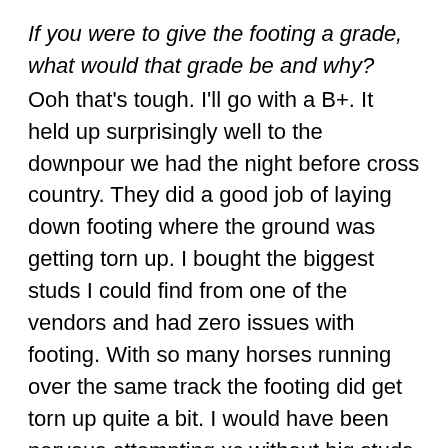If you were to give the footing a grade, what would that grade be and why?
Ooh that's tough. I'll go with a B+. It held up surprisingly well to the downpour we had the night before cross country. They did a good job of laying down footing where the ground was getting torn up. I bought the biggest studs I could find from one of the vendors and had zero issues with footing. With so many horses running over the same track the footing did get torn up quite a bit. I would have been nervous attempting xc without big studs.
Do you feel there was an appropriate amount of galloping allowed by the course design?
Yes, I did. We only had three jumps on the galloping lane after the water, and I was really able to open up my horse's stride and get up on the clock before the derby